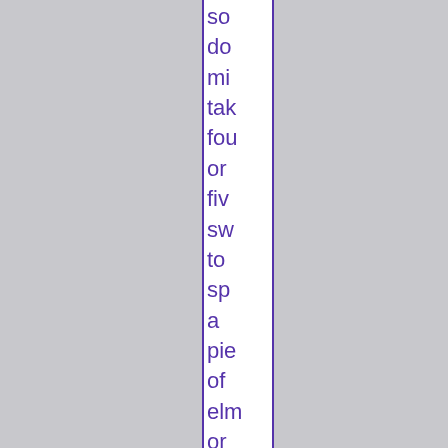so do mi tak fou or fiv sw to sp a pie of elm or be as thi as